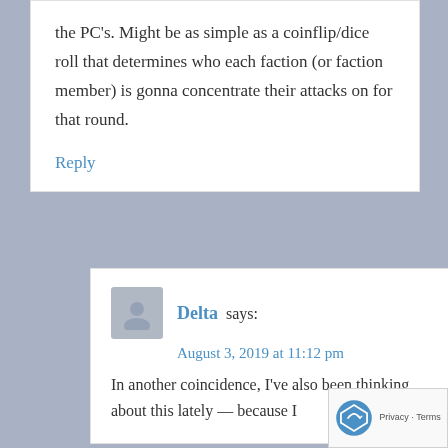the PC's. Might be as simple as a coinflip/dice roll that determines who each faction (or faction member) is gonna concentrate their attacks on for that round.
Reply
Delta says:
August 3, 2019 at 11:12 pm
In another coincidence, I've also been thinking about this lately — because I